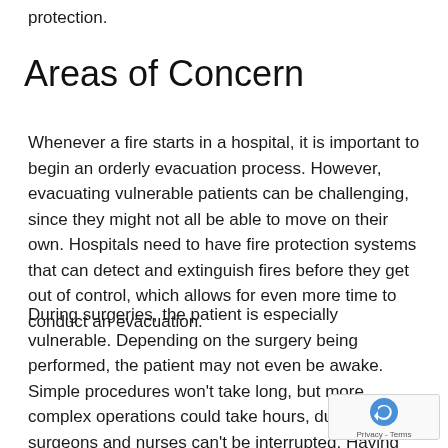protection.
Areas of Concern
Whenever a fire starts in a hospital, it is important to begin an orderly evacuation process. However, evacuating vulnerable patients can be challenging, since they might not all be able to move on their own. Hospitals need to have fire protection systems that can detect and extinguish fires before they get out of control, which allows for even more time to conduct an evacuation.
During surgeries, the patient is especially vulnerable. Depending on the surgery being performed, the patient may not even be awake. Simple procedures won't take long, but more complex operations could take hours, during which surgeons and nurses can't be interrupted. Having the best possible fire protection measures in